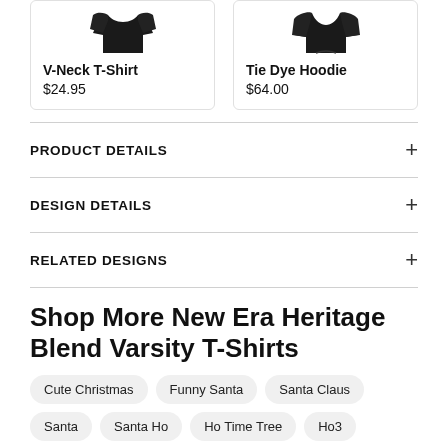[Figure (photo): Product card showing V-Neck T-Shirt with black shirt silhouette image]
V-Neck T-Shirt
$24.95
[Figure (photo): Product card showing Tie Dye Hoodie with black hoodie silhouette image]
Tie Dye Hoodie
$64.00
PRODUCT DETAILS
DESIGN DETAILS
RELATED DESIGNS
Shop More New Era Heritage Blend Varsity T-Shirts
Cute Christmas
Funny Santa
Santa Claus
Santa
Santa Ho
Ho Time Tree
Ho3